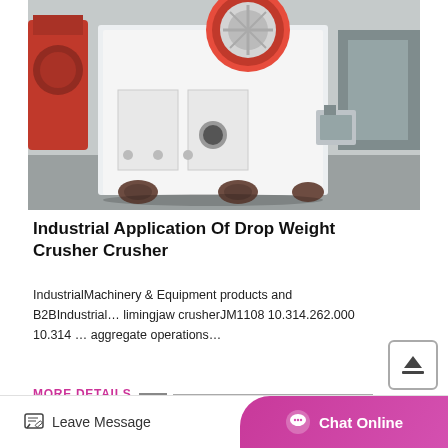[Figure (photo): Industrial jaw crusher machine, white/grey colored, large red flywheel visible at top, photographed in a factory/warehouse setting with concrete floor]
Industrial Application Of Drop Weight Crusher Crusher
IndustrialMachinery & Equipment products and B2BIndustrial… limingjaw crusherJM1108 10.314.262.000 10.314 … aggregate operations…
MORE DETAILS
Leave Message   Chat Online